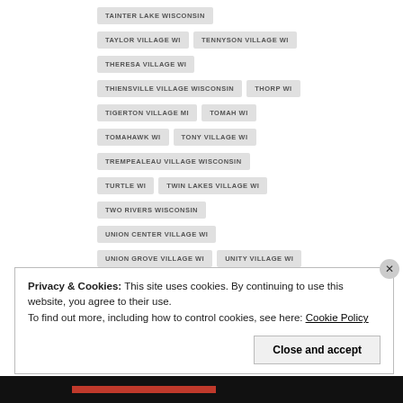TAINTER LAKE WISCONSIN
TAYLOR VILLAGE WI
TENNYSON VILLAGE WI
THERESA VILLAGE WI
THIENSVILLE VILLAGE WISCONSIN
THORP WI
TIGERTON VILLAGE MI
TOMAH WI
TOMAHAWK WI
TONY VILLAGE WI
TREMPEALEAU VILLAGE WISCONSIN
TURTLE WI
TWIN LAKES VILLAGE WI
TWO RIVERS WISCONSIN
UNION CENTER VILLAGE WI
UNION GROVE VILLAGE WI
UNITY VILLAGE WI
Privacy & Cookies: This site uses cookies. By continuing to use this website, you agree to their use.
To find out more, including how to control cookies, see here: Cookie Policy
Close and accept